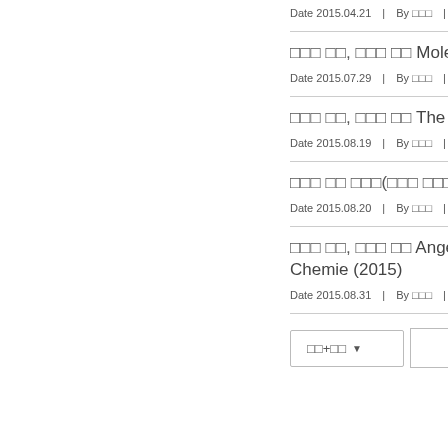Date 2015.04.21 | By □□□ | Vi
□□□ □□, □□□ □□ Molecular
Date 2015.07.29 | By □□□ | Vi
□□□ □□, □□□ □□ The Plant
Date 2015.08.19 | By □□□ | Vi
□□□ □□ □□□(□□□ □□□□□) ACS
Date 2015.08.20 | By □□□ | Vi
□□□ □□, □□□ □□ Angewandte Chemie (2015)
Date 2015.08.31 | By □□□ | Vi